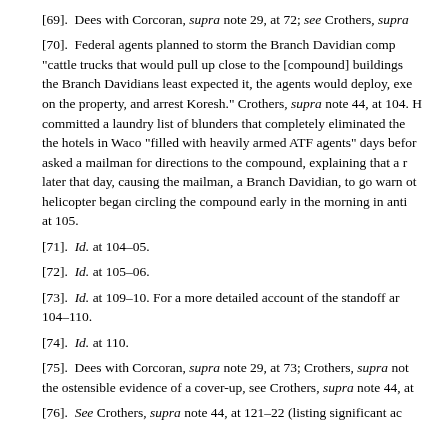[69].  Dees with Corcoran, supra note 29, at 72; see Crothers, supra
[70].  Federal agents planned to storm the Branch Davidian comp "cattle trucks that would pull up close to the [compound] buildings the Branch Davidians least expected it, the agents would deploy, exe on the property, and arrest Koresh." Crothers, supra note 44, at 104. H committed a laundry list of blunders that completely eliminated the the hotels in Waco "filled with heavily armed ATF agents" days befor asked a mailman for directions to the compound, explaining that a r later that day, causing the mailman, a Branch Davidian, to go warn ot helicopter began circling the compound early in the morning in anti at 105.
[71].  Id. at 104–05.
[72].  Id. at 105–06.
[73].  Id. at 109–10. For a more detailed account of the standoff ar 104–110.
[74].  Id. at 110.
[75].  Dees with Corcoran, supra note 29, at 73; Crothers, supra not the ostensible evidence of a cover-up, see Crothers, supra note 44, at
[76].  See Crothers, supra note 44, at 121–22 (listing significant ac